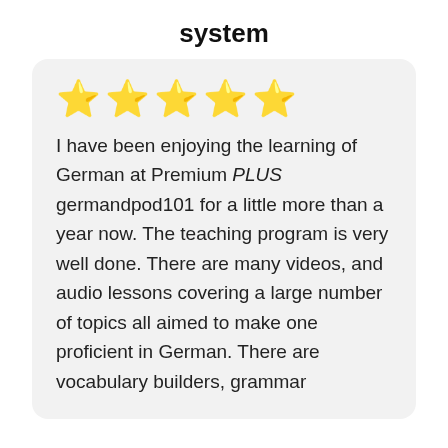system
[Figure (other): Five gold star rating icons displayed in a row]
I have been enjoying the learning of German at Premium PLUS germandpod101 for a little more than a year now. The teaching program is very well done. There are many videos, and audio lessons covering a large number of topics all aimed to make one proficient in German. There are vocabulary builders, grammar...